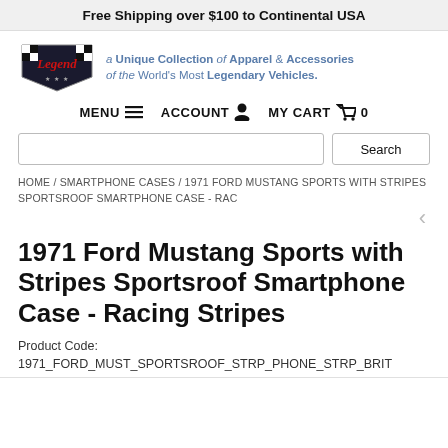Free Shipping over $100 to Continental USA
[Figure (logo): Legend Lines logo - checkered flag shield with red script text]
a Unique Collection of Apparel & Accessories of the World's Most Legendary Vehicles.
MENU  ACCOUNT  MY CART  0
Search
HOME / SMARTPHONE CASES / 1971 FORD MUSTANG SPORTS WITH STRIPES SPORTSROOF SMARTPHONE CASE - RAC
1971 Ford Mustang Sports with Stripes Sportsroof Smartphone Case - Racing Stripes
Product Code:
1971_FORD_MUST_SPORTSROOF_STRP_PHONE_STRP_BRIT